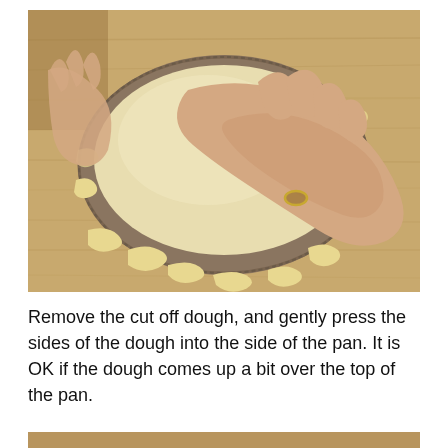[Figure (photo): Hands pressing dough into a fluted tart pan on a wooden cutting board. Excess dough has been trimmed and sits around the sides of the pan.]
Remove the cut off dough, and gently press the sides of the dough into the side of the pan. It is OK if the dough comes up a bit over the top of the pan.